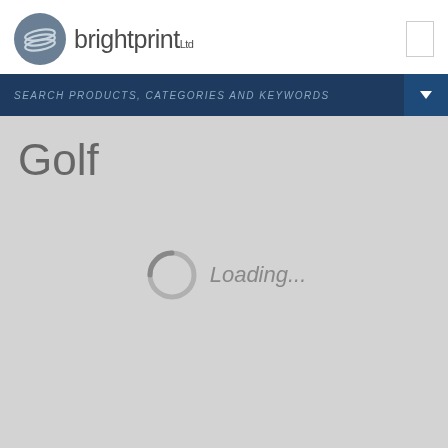[Figure (logo): Brightprint Ltd logo with circular icon and text]
SEARCH PRODUCTS, CATEGORIES AND KEYWORDS
Golf
[Figure (other): Loading spinner icon with text 'Loading...']